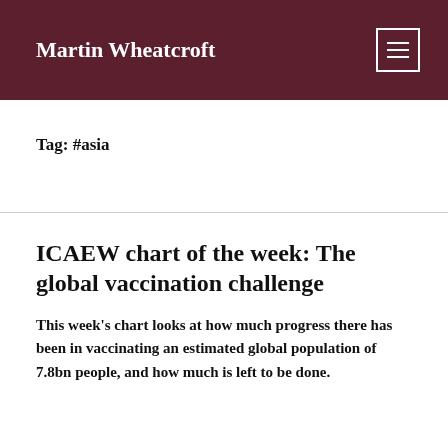Martin Wheatcroft
Tag: #asia
ICAEW chart of the week: The global vaccination challenge
This week's chart looks at how much progress there has been in vaccinating an estimated global population of 7.8bn people, and how much is left to be done.